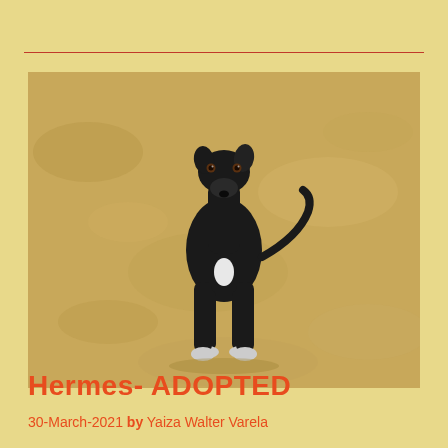[Figure (photo): A black, slender dog (greyhound-type) standing upright on sandy/dry ground, looking directly at the camera. The dog has a white patch on its chest and white feet. The background is sandy/earthy terrain.]
Hermes- ADOPTED
30-March-2021 by Yaiza Walter Varela